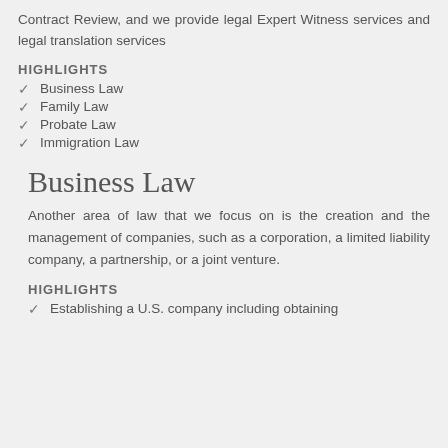Contract Review, and we provide legal Expert Witness services and legal translation services
HIGHLIGHTS
Business Law
Family Law
Probate Law
Immigration Law
Business Law
Another area of law that we focus on is the creation and the management of companies, such as a corporation, a limited liability company, a partnership, or a joint venture.
HIGHLIGHTS
Establishing a U.S. company including obtaining